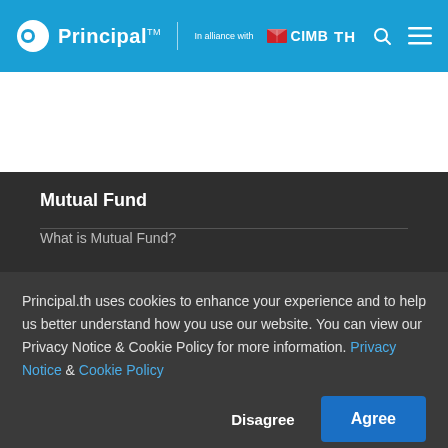Principal | In alliance with CIMB
Mutual Fund
What is Mutual Fund?
Principal.th uses cookies to enhance your experience and to help us better understand how you use our website. You can view our Privacy Notice & Cookie Policy for more information. Privacy Notice & Cookie Policy
Disagree
Agree